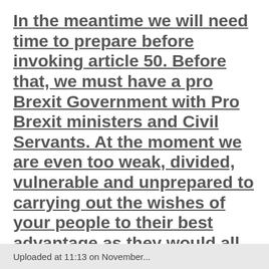In the meantime we will need time to prepare before invoking article 50. Before that, we must have a pro Brexit Government with Pro Brexit ministers and Civil Servants. At the moment we are even too weak, divided, vulnerable and unprepared to carrying out the wishes of your people to their best advantage as they would all expect.
Uploaded at 11:13 on November...